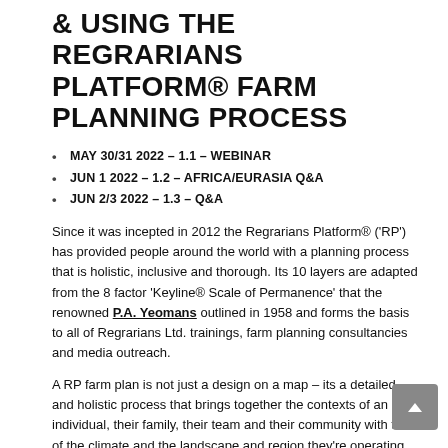& USING THE REGRARIANS PLATFORM® FARM PLANNING PROCESS
MAY 30/31 2022 – 1.1 – WEBINAR
JUN 1 2022 – 1.2 – AFRICA/EURASIA Q&A
JUN 2/3 2022 – 1.3 – Q&A
Since it was incepted in 2012 the Regrarians Platform® ('RP') has provided people around the world with a planning process that is holistic, inclusive and thorough. Its 10 layers are adapted from the 8 factor 'Keyline® Scale of Permanence' that the renowned P.A. Yeomans outlined in 1958 and forms the basis to all of Regrarians Ltd. trainings, farm planning consultancies and media outreach.
A RP farm plan is not just a design on a map – its a detailed and holistic process that brings together the contexts of an individual, their family, their team and their community with that of the climate and the landscape and region they're operating in.